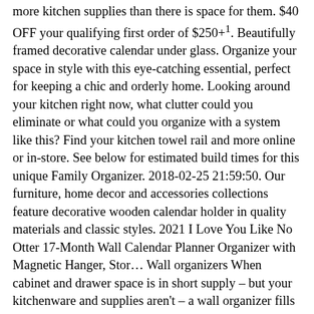more kitchen supplies than there is space for them. $40 OFF your qualifying first order of $250+¹. Beautifully framed decorative calendar under glass. Organize your space in style with this eye-catching essential, perfect for keeping a chic and orderly home. Looking around your kitchen right now, what clutter could you eliminate or what could you organize with a system like this? Find your kitchen towel rail and more online or in-store. See below for estimated build times for this unique Family Organizer. 2018-02-25 21:59:50. Our furniture, home decor and accessories collections feature decorative wooden calendar holder in quality materials and classic styles. 2021 I Love You Like No Otter 17-Month Wall Calendar Planner Organizer with Magnetic Hanger, Stor… Wall organizers When cabinet and drawer space is in short supply – but your kitchenware and supplies aren't – a wall organizer fills the gap. This wall organizer is a white magnetic dry erase weekly calendar to post all your important appointments or display your photos. A sliding, one-month panel snaps into place and over the other two months. Kate and Laurel™ Tyde 2-Pocket Wall Organizer File Holder in Rose Gold. $48.74 Was $64.99. Tags: declutter. Designovation Walcott Wall Organizer 2-pocket Mail Holder. I have a whole bunch of creating organizers from some very talented makers to inspire you below. 2021 Calendar - 12 Monthly Wall Calendar with Thick Paper, 15" x 11.5", Twin-Wire Binding + Hanging Hook + Ruled Blocks with Julian Date - Pink Marble 4.7 out of 5 stars 1,508 $8.49 $ 8 . Shop at eBay.com and enjoy Fast & Free shipping on many items! 2017-05-16 20:14:11